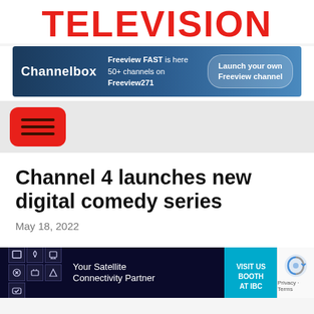TELEVISION
[Figure (infographic): Channelbox advertisement banner: 'Freeview FAST is here 50+ channels on Freeview271 — Launch your own Freeview channel']
[Figure (other): Hamburger menu button (red rounded square with three horizontal lines)]
Channel 4 launches new digital comedy series
May 18, 2022
[Figure (infographic): ABS (Asian Broadcast Satellite) advertisement: 'Your Satellite Connectivity Partner' with satellite icons and 'VISIT US BOOTH AT IBC' call to action]